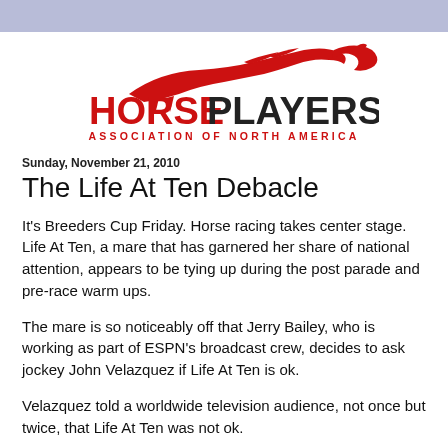[Figure (logo): Horseplayers Association of North America logo with red running horse silhouette above text HORSEPLAYERS ASSOCIATION OF NORTH AMERICA]
Sunday, November 21, 2010
The Life At Ten Debacle
It's Breeders Cup Friday. Horse racing takes center stage. Life At Ten, a mare that has garnered her share of national attention, appears to be tying up during the post parade and pre-race warm ups.
The mare is so noticeably off that Jerry Bailey, who is working as part of ESPN's broadcast crew, decides to ask jockey John Velazquez if Life At Ten is ok.
Velazquez told a worldwide television audience, not once but twice, that Life At Ten was not ok.